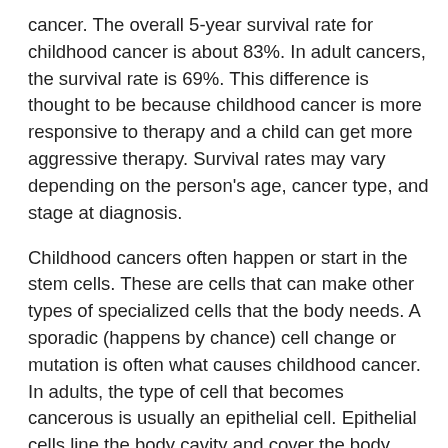cancer. The overall 5-year survival rate for childhood cancer is about 83%. In adult cancers, the survival rate is 69%. This difference is thought to be because childhood cancer is more responsive to therapy and a child can get more aggressive therapy. Survival rates may vary depending on the person's age, cancer type, and stage at diagnosis.
Childhood cancers often happen or start in the stem cells. These are cells that can make other types of specialized cells that the body needs. A sporadic (happens by chance) cell change or mutation is often what causes childhood cancer. In adults, the type of cell that becomes cancerous is usually an epithelial cell. Epithelial cells line the body cavity and cover the body surface. Cancer happens from environmental exposures to these cells over time. Adult cancers are sometimes referred to as acquired for this reason.